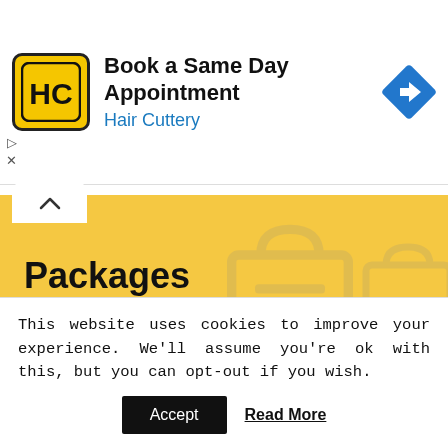[Figure (logo): Hair Cuttery logo - yellow square with HC monogram, advertisement for booking a same day appointment]
Book a Same Day Appointment
Hair Cuttery
Packages
Walking Treasure Hunt Package
Children's Treasure Hunt
Grown Up Treasure Hunt
Driving Treasure Hunt
Team Building
This website uses cookies to improve your experience. We'll assume you're ok with this, but you can opt-out if you wish.